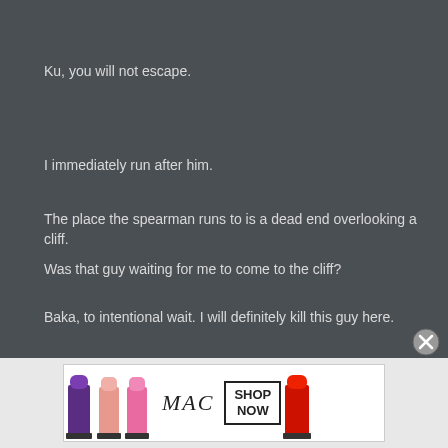Ku, you will not escape.
I immediately run after him.
The place the spearman runs to is a dead end overlooking a cliff.
Was that guy waiting for me to come to the cliff?
Baka, to intentional wait. I will definitely kill this guy here.
[Figure (photo): MAC cosmetics advertisement banner showing lipsticks in purple, pink, and red colors with MAC logo and SHOP NOW button]